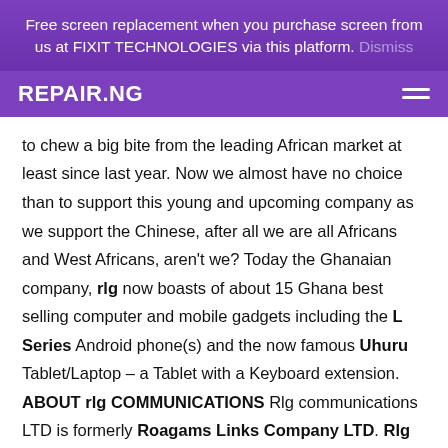Free screen replacement when you purchase screen from us at FIXIT TECHNOLOGIES via this platform. Dismiss
REPAIR.NG
to chew a big bite from the leading African market at least since last year. Now we almost have no choice than to support this young and upcoming company as we support the Chinese, after all we are all Africans and West Africans, aren't we? Today the Ghanaian company, rlg now boasts of about 15 Ghana best selling computer and mobile gadgets including the L Series Android phone(s) and the now famous Uhuru Tablet/Laptop – a Tablet with a Keyboard extension. ABOUT rlg COMMUNICATIONS Rlg communications LTD is formerly Roagams Links Company LTD. Rlg is a